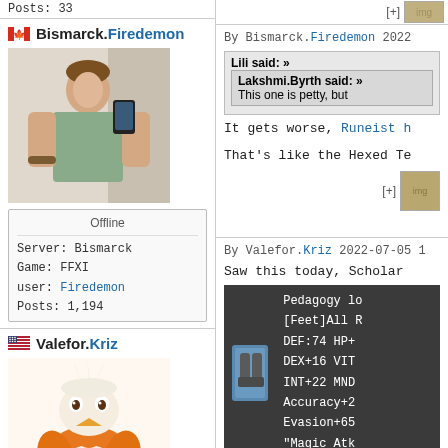Posts: 33
Bismarck.Firedemon
[Figure (photo): Man taking a selfie in a mirror, wearing a plaid shirt]
Offline
Server: Bismarck
Game: FFXI
user: Firedemon
Posts: 1,194
By Bismarck.Firedemon 2022
Lili said: »
Lakshmi.Byrth said: » This one is petty, but
It gets worse, Runeist h
That's like the Hexed Te
Valefor.Kriz
[Figure (illustration): Cartoon orange bird/chocobo character]
Offline
Server: Valefor
Game: FFXI
user: Kriz
Posts: 39
By Valefor.Kriz 2022-07-05 1
Saw this today, Scholar
[Figure (screenshot): Game item tooltip: Pedagogy lo [Feet]All R DEF:74 HP+ DEX+16 VIT INT+22 MND Accuracy+2 Evasion+65 Magic Atk Mo]